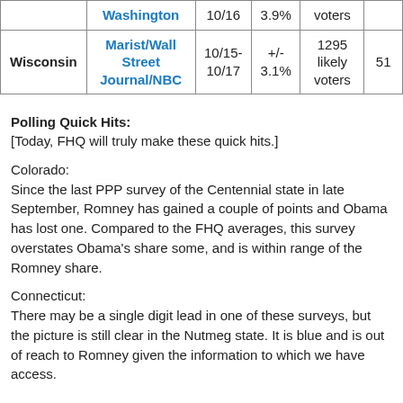| State | Pollster | Date | MoE | Sample | Obama |
| --- | --- | --- | --- | --- | --- |
|  | Washington | 10/16 | 3.9% | voters |  |
| Wisconsin | Marist/Wall Street Journal/NBC | 10/15-10/17 | +/- 3.1% | 1295 likely voters | 51 |
Polling Quick Hits:
[Today, FHQ will truly make these quick hits.]
Colorado:
Since the last PPP survey of the Centennial state in late September, Romney has gained a couple of points and Obama has lost one. Compared to the FHQ averages, this survey overstates Obama's share some, and is within range of the Romney share.
Connecticut:
There may be a single digit lead in one of these surveys, but the picture is still clear in the Nutmeg state. It is blue and is out of reach to Romney given the information to which we have access.